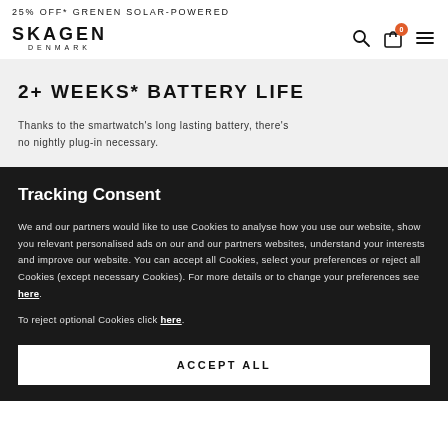25% OFF* GRENEN SOLAR-POWERED
[Figure (logo): Skagen Denmark logo]
2+ WEEKS* BATTERY LIFE
Thanks to the smartwatch's long lasting battery, there's no nightly plug-in necessary.
Tracking Consent
We and our partners would like to use Cookies to analyse how you use our website, show you relevant personalised ads on our and our partners websites, understand your interests and improve our website. You can accept all Cookies, select your preferences or reject all Cookies (except necessary Cookies). For more details or to change your preferences see here.
To reject optional Cookies click here.
ACCEPT ALL